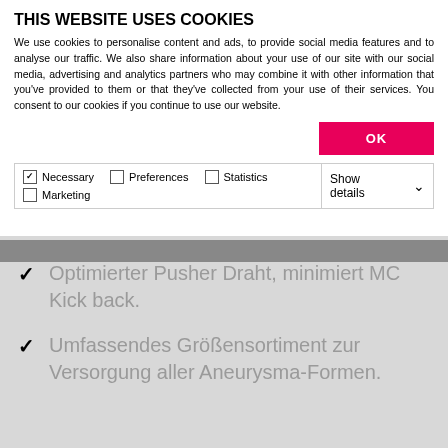THIS WEBSITE USES COOKIES
We use cookies to personalise content and ads, to provide social media features and to analyse our traffic. We also share information about your use of our site with our social media, advertising and analytics partners who may combine it with other information that you've provided to them or that they've collected from your use of their services. You consent to our cookies if you continue to use our website.
| ✓ Necessary  □ Preferences  □ Statistics  □ Marketing | Show details ∨ |
Optimierter Pusher Draht, minimiert MC Kick back.
Umfassendes Größensortiment zur Versorgung aller Aneurysma-Formen.